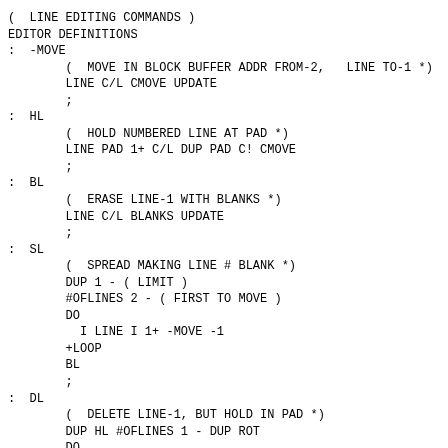( LINE EDITING COMMANDS )
EDITOR DEFINITIONS
: -MOVE
        ( MOVE IN BLOCK BUFFER ADDR FROM-2,  LINE TO-1 *)
        LINE C/L CMOVE UPDATE
        ;
: HL
        ( HOLD NUMBERED LINE AT PAD *)
        LINE PAD 1+ C/L DUP PAD C! CMOVE
        ;
: BL
        ( ERASE LINE-1 WITH BLANKS *)
        LINE C/L BLANKS UPDATE
        ;
: SL
        ( SPREAD MAKING LINE # BLANK *)
        DUP 1 - ( LIMIT )
        #OFLINES 2 - ( FIRST TO MOVE )
        DO
          I LINE I 1+ -MOVE -1
        +LOOP
        BL
        ;
: DL
        ( DELETE LINE-1, BUT HOLD IN PAD *)
        DUP HL #OFLINES 1 - DUP ROT
        DO
          I 1+ LINE I -MOVE
        LOOP